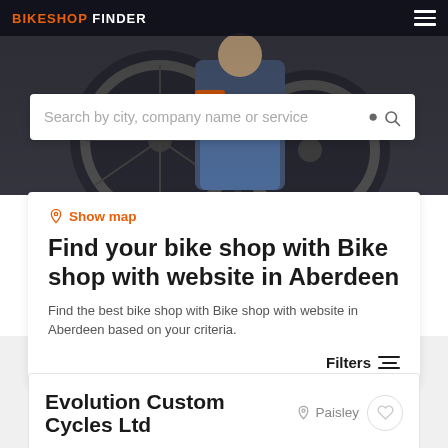BIKESHOP FINDER
[Figure (screenshot): Hero background photo showing a bike mechanic working on a bicycle, dark/muted tones]
Search by city, company name or service
Show map
Find your bike shop with Bike shop with website in Aberdeen
Find the best bike shop with Bike shop with website in Aberdeen based on your criteria.
Filters
Evolution Custom Cycles Ltd
Paisley